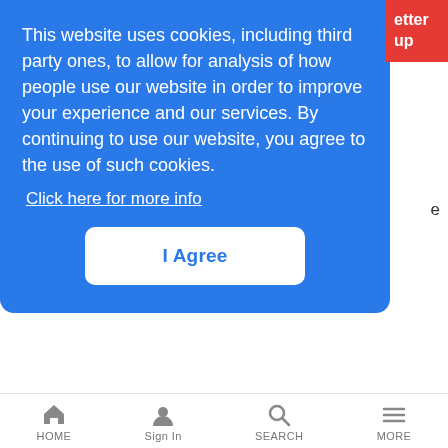[Figure (screenshot): Cookie consent overlay dialog with blue background, containing cookie policy text, a 'Click here for more info' link, and an 'I Agree' button. A red button is partially visible in the top right corner.]
LR Mobile News Analysis | 12/7/2007
Only 22 percent of voters in the latest Unstrung poll believe there will be a nationwide rollout of WiMax next year
Police Raid Huawei Offices in Brazil
News Analysis | 12/7/2007
HOME  Sign In  SEARCH  MORE